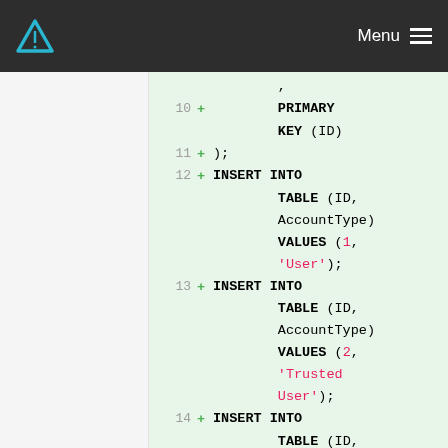Menu
[Figure (screenshot): Code diff view showing SQL statements with line numbers 10-14, green highlighted additions including PRIMARY KEY, INSERT INTO TABLE statements with VALUES for User, Trusted User, and Developer account types]